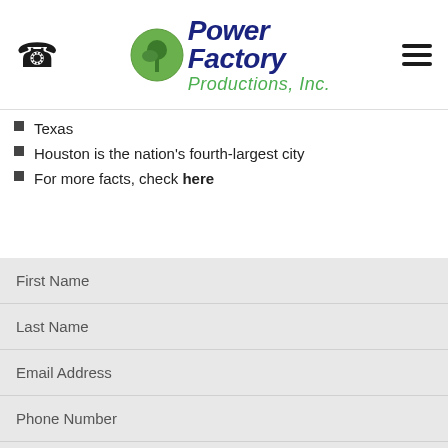[Figure (logo): Power Factory Productions, Inc. logo with green circle and dark blue italic text]
Texas
Houston is the nation's fourth-largest city
For more facts, check here
First Name
Last Name
Email Address
Phone Number
Tell us about your event or project!